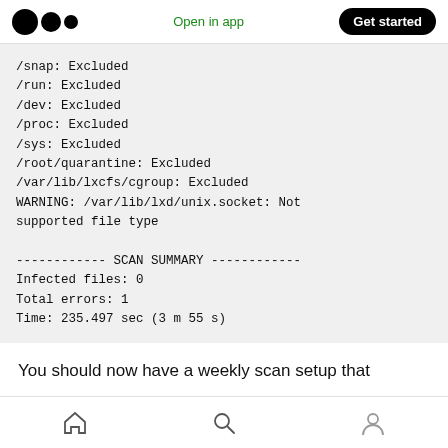Open in app  Get started
/snap: Excluded
/run: Excluded
/dev: Excluded
/proc: Excluded
/sys: Excluded
/root/quarantine: Excluded
/var/lib/lxcfs/cgroup: Excluded
WARNING: /var/lib/lxd/unix.socket: Not supported file type

------------ SCAN SUMMARY ------------
Infected files: 0
Total errors: 1
Time: 235.497 sec (3 m 55 s)
You should now have a weekly scan setup that
home  search  profile